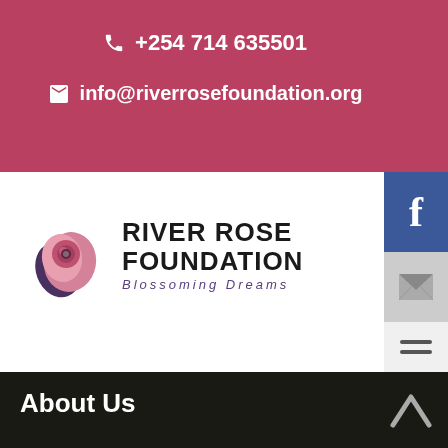+254 714 635501
info@riverrosefoundation.org
[Figure (logo): River Rose Foundation logo with rose graphic and text 'RIVER ROSE FOUNDATION Blossoming Dreams']
About Us